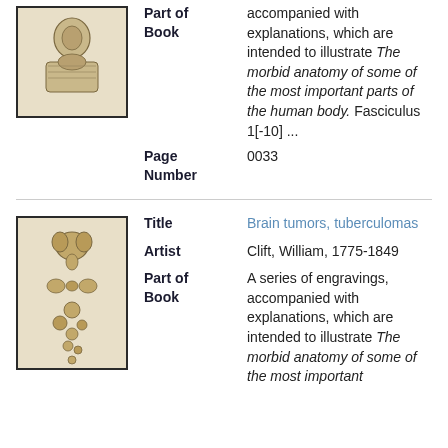[Figure (illustration): Sepia-toned anatomical engraving showing a dissected specimen, top portion of page, old medical illustration style.]
| Part of Book | accompanied with explanations, which are intended to illustrate The morbid anatomy of some of the most important parts of the human body. Fasciculus 1[-10] ... |
| Page Number | 0033 |
[Figure (illustration): Sepia-toned anatomical engraving showing brain tumors/tuberculomas, old medical illustration style with multiple round specimens arranged vertically.]
| Title | Brain tumors, tuberculomas |
| Artist | Clift, William, 1775-1849 |
| Part of Book | A series of engravings, accompanied with explanations, which are intended to illustrate The morbid anatomy of some of the most important |